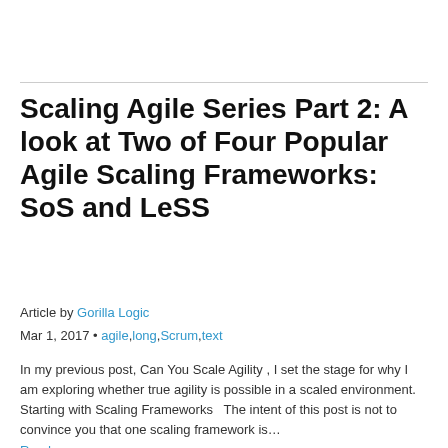Scaling Agile Series Part 2: A look at Two of Four Popular Agile Scaling Frameworks: SoS and LeSS
Article by Gorilla Logic
Mar 1, 2017 • agile,long,Scrum,text
In my previous post, Can You Scale Agility , I set the stage for why I am exploring whether true agility is possible in a scaled environment.   Starting with Scaling Frameworks   The intent of this post is not to convince you that one scaling framework is… Read more.